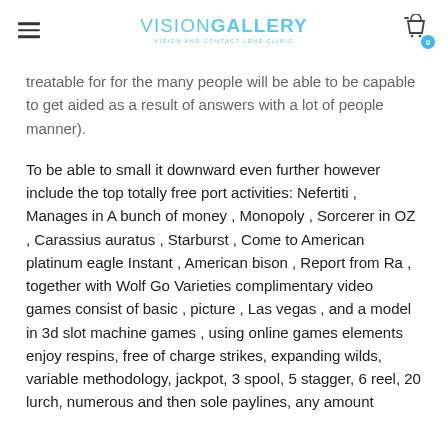VISION GALLERY - VISION AND CONTACT LENS CLINIC
treatable for for the many people will be able to be capable to get aided as a result of answers with a lot of people manner).
To be able to small it downward even further however include the top totally free port activities: Nefertiti , Manages in A bunch of money , Monopoly , Sorcerer in OZ , Carassius auratus , Starburst , Come to American platinum eagle Instant , American bison , Report from Ra , together with Wolf Go Varieties complimentary video games consist of basic , picture , Las vegas , and a model in 3d slot machine games , using online games elements enjoy respins, free of charge strikes, expanding wilds, variable methodology, jackpot, 3 spool, 5 stagger, 6 reel, 20 lurch, numerous and then sole paylines, any amount